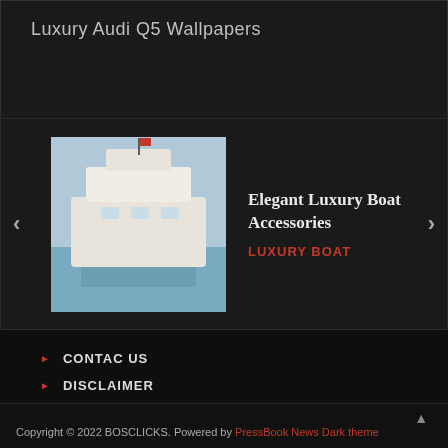Luxury Audi Q5 Wallpapers
[Figure (screenshot): Slider carousel showing a luxury boat image with title and category]
Elegant Luxury Boat Accessories
LUXURY BOAT
CONTAC US
DISCLAIMER
PRIVACY POLICY
SITEMAP
TOS
Copyright © 2022 BOSCLICKS. Powered by PressBook News Dark theme